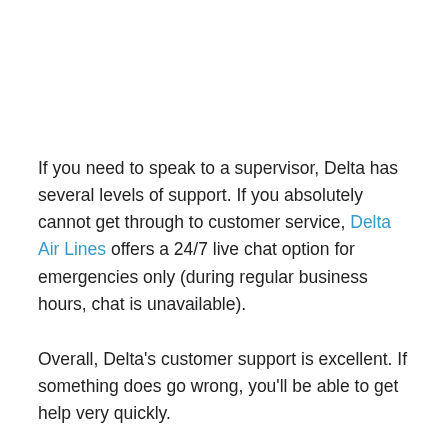If you need to speak to a supervisor, Delta has several levels of support. If you absolutely cannot get through to customer service, Delta Air Lines offers a 24/7 live chat option for emergencies only (during regular business hours, chat is unavailable).
Overall, Delta's customer support is excellent. If something does go wrong, you'll be able to get help very quickly.
The Most Common Complaints